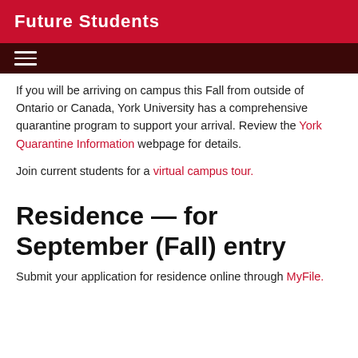Future Students
If you will be arriving on campus this Fall from outside of Ontario or Canada, York University has a comprehensive quarantine program to support your arrival. Review the York Quarantine Information webpage for details.
Join current students for a virtual campus tour.
Residence — for September (Fall) entry
Submit your application for residence online through MyFile.